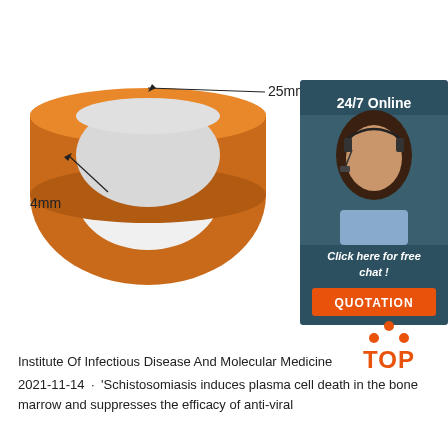[Figure (photo): Two orange silicone wristbands/rings with dimension annotations: 25mm width, 4mm thickness (left ring), Φ61 diameter (right ring). On the right side, a customer service chat widget with a woman wearing a headset, labeled '24/7 Online', 'Click here for free chat!', and an orange 'QUOTATION' button. Dark teal/navy background for the chat widget.]
[Figure (logo): TOP logo with orange dots arranged in a triangle above the word TOP in orange bold text.]
Institute Of Infectious Disease And Molecular Medicine
2021-11-14u2002·u2002'Schistosomiasis induces plasma cell death in the bone marrow and suppresses the efficacy of anti-viral